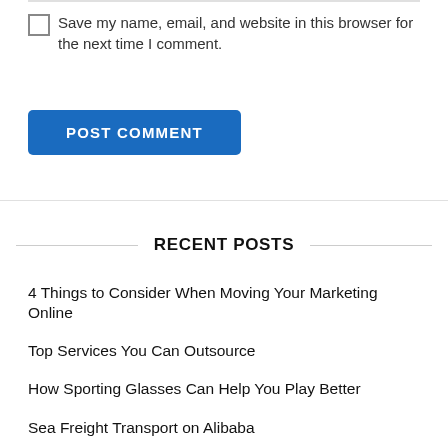Save my name, email, and website in this browser for the next time I comment.
POST COMMENT
RECENT POSTS
4 Things to Consider When Moving Your Marketing Online
Top Services You Can Outsource
How Sporting Glasses Can Help You Play Better
Sea Freight Transport on Alibaba
Tips for Bringing your Pet on Vacation with You